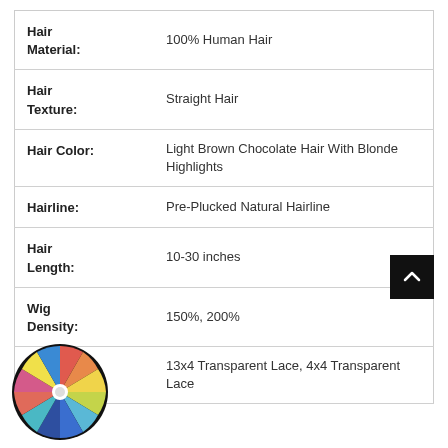| Attribute | Value |
| --- | --- |
| Hair Material: | 100% Human Hair |
| Hair Texture: | Straight Hair |
| Hair Color: | Light Brown Chocolate Hair With Blonde Highlights |
| Hairline: | Pre-Plucked Natural Hairline |
| Hair Length: | 10-30 inches |
| Wig Density: | 150%, 200% |
| Wig Type: | 13x4 Transparent Lace, 4x4 Transparent Lace |
[Figure (pie-chart): Colorful spinning wheel / pie chart overlay in bottom-left corner]